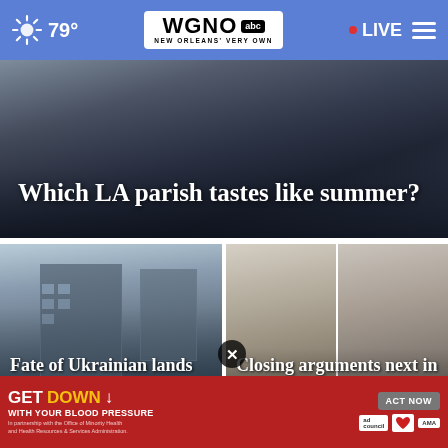☀ 79° | WGNO abc NEW ORLEANS' VERY OWN | • LIVE ≡
[Figure (screenshot): Hero image with dark background showing a room scene, overlaid with headline text]
Which LA parish tastes like summer?
[Figure (photo): Left column: Photo of Ukrainian buildings/cityscape]
Fate of Ukrainian lands held by Russia: what we see
[Figure (photo): Right column: Close-up photos of two people's faces/profiles]
Closing arguments next in trial of
[Figure (screenshot): Advertisement banner: GET DOWN WITH YOUR BLOOD PRESSURE - ACT NOW - In partnership with the Office of Minority Health and Health Resources & Services Administration - ad council, heart, AMA logos]